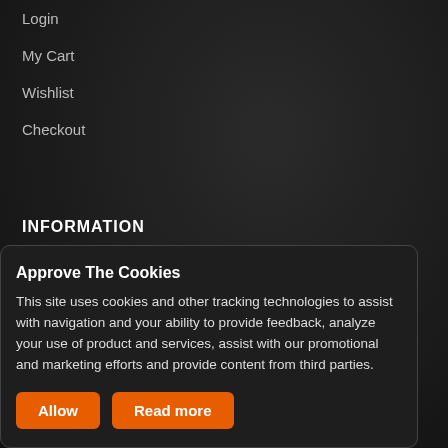Login
My Cart
Wishlist
Checkout
INFORMATION
About Us
Careers
Privacy Policy
Approve The Cookies
This site uses cookies and other tracking technologies to assist with navigation and your ability to provide feedback, analyze your use of product and services, assist with our promotional and marketing efforts and provide content from third parties.
Allow
Read more